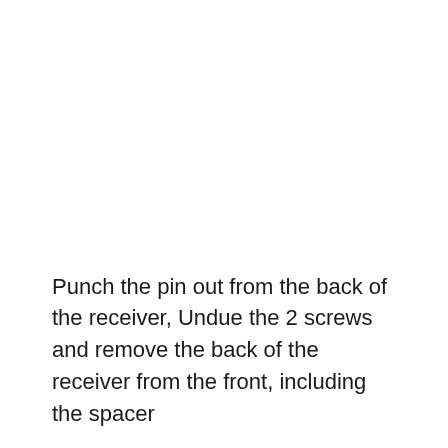Punch the pin out from the back of the receiver, Undue the 2 screws and remove the back of the receiver from the front, including the spacer